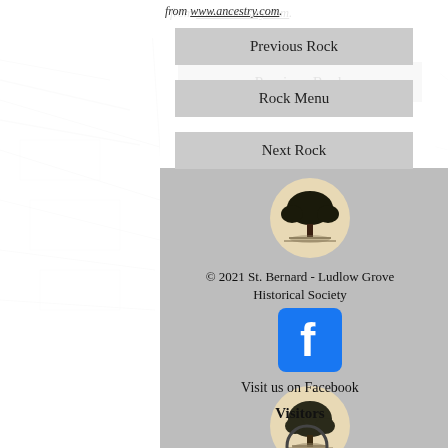from www.ancestry.com.
Previous Rock
Rock Menu
Next Rock
[Figure (logo): St. Bernard - Ludlow Grove Historical Society tree logo in a beige circle]
© 2021 St. Bernard - Ludlow Grove Historical Society
[Figure (logo): Facebook logo button (blue square with white 'f')]
Visit us on Facebook
Visitors
[Figure (other): Visitor counter circle/widget]